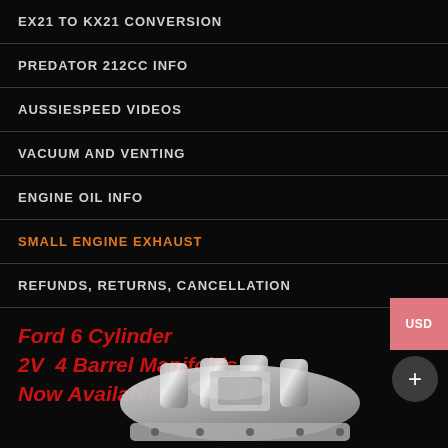EX21 TO KX21 CONVERSION
PREDATOR 212CC INFO
AUSSIESPEED VIDEOS
VACUUM AND VENTING
ENGINE OIL INFO
SMALL ENGINE EXHAUST
REFUNDS, RETURNS, CANCELLATION
USD
+
Ford 6 Cylinder
2V  4 Barrel Manifolds
Now Available
[Figure (photo): Silver/chrome automotive intake manifold for Ford 6 Cylinder engine, shown at an angle against black background]